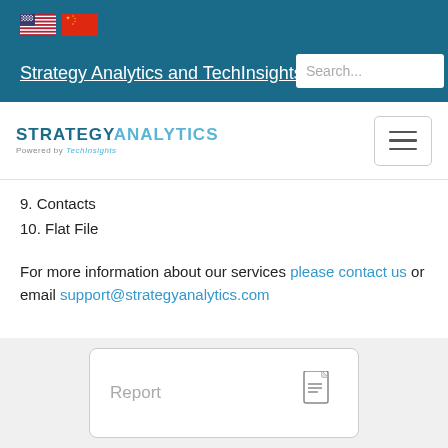Strategy Analytics and TechInsights
[Figure (logo): Strategy Analytics powered by TechInsights logo with hamburger menu]
9. Contacts
10. Flat File
For more information about our services please contact us or email support@strategyanalytics.com